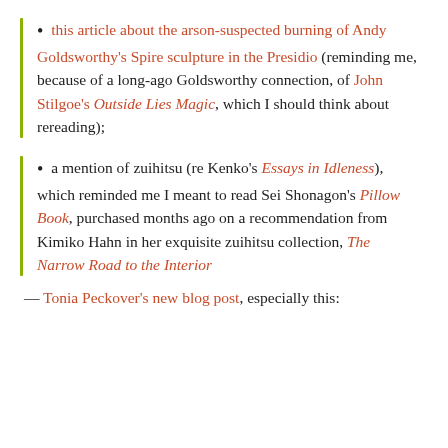• this article about the arson-suspected burning of Andy Goldsworthy's Spire sculpture in the Presidio (reminding me, because of a long-ago Goldsworthy connection, of John Stilgoe's Outside Lies Magic, which I should think about rereading);
• a mention of zuihitsu (re Kenko's Essays in Idleness), which reminded me I meant to read Sei Shonagon's Pillow Book, purchased months ago on a recommendation from Kimiko Hahn in her exquisite zuihitsu collection, The Narrow Road to the Interior
— Tonia Peckover's new blog post, especially this: